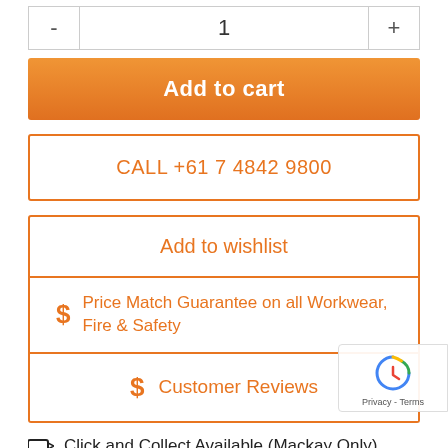- 1 +
Add to cart
CALL +61 7 4842 9800
Add to wishlist
$ Price Match Guarantee on all Workwear, Fire & Safety
$ Customer Reviews
Click and Collect Available (Mackay Only)
Product Details